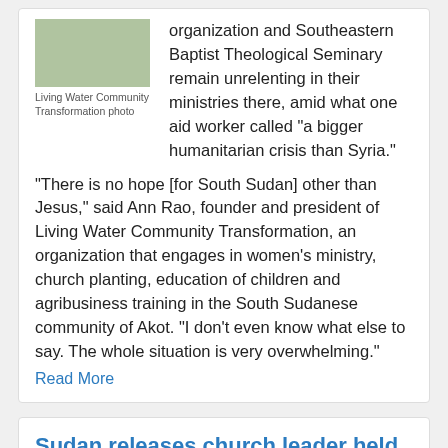[Figure (photo): Photo of food preparation, showing bowls and cooking equipment outdoors.]
Living Water Community Transformation photo
organization and Southeastern Baptist Theological Seminary remain unrelenting in their ministries there, amid what one aid worker called "a bigger humanitarian crisis than Syria."
"There is no hope [for South Sudan] other than Jesus," said Ann Rao, founder and president of Living Water Community Transformation, an organization that engages in women's ministry, church planting, education of children and agribusiness training in the South Sudanese community of Akot. "I don't even know what else to say. The whole situation is very overwhelming."
Read More
Sudan releases church leader held since Dec.